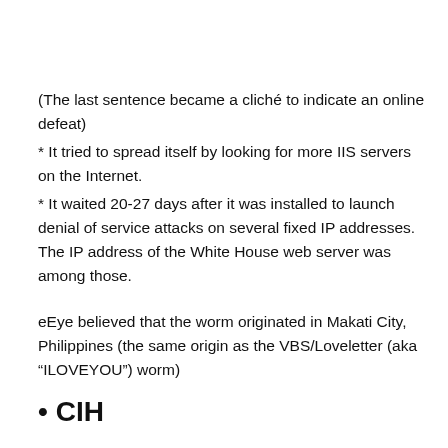(The last sentence became a cliché to indicate an online defeat)
* It tried to spread itself by looking for more IIS servers on the Internet.
* It waited 20-27 days after it was installed to launch denial of service attacks on several fixed IP addresses. The IP address of the White House web server was among those.
eEye believed that the worm originated in Makati City, Philippines (the same origin as the VBS/Loveletter (aka "ILOVEYOU") worm)
• CIH